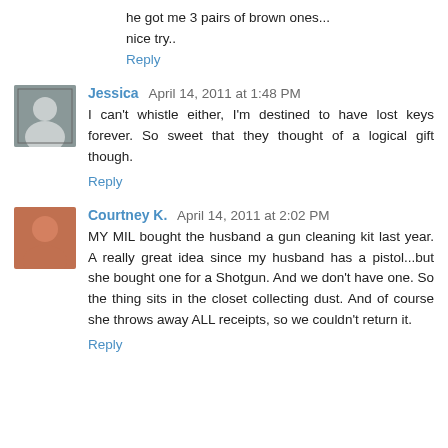he got me 3 pairs of brown ones...
nice try..
Reply
Jessica  April 14, 2011 at 1:48 PM
I can't whistle either, I'm destined to have lost keys forever. So sweet that they thought of a logical gift though.
Reply
Courtney K.  April 14, 2011 at 2:02 PM
MY MIL bought the husband a gun cleaning kit last year. A really great idea since my husband has a pistol...but she bought one for a Shotgun. And we don't have one. So the thing sits in the closet collecting dust. And of course she throws away ALL receipts, so we couldn't return it.
Reply